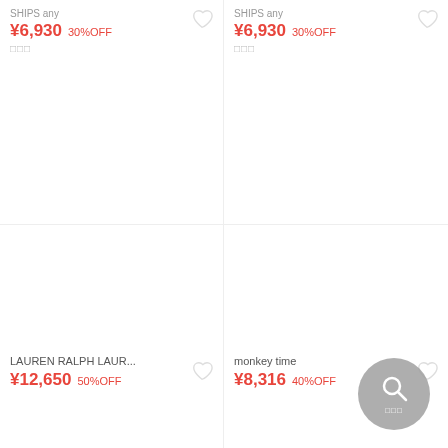SHIPS any
¥6,930 30%OFF
□□□
SHIPS any
¥6,930 30%OFF
□□□
[Figure (photo): Product image placeholder - left top, SHIPS any item]
[Figure (photo): Product image placeholder - right top, SHIPS any item]
LAUREN RALPH LAUR...
¥12,650 50%OFF
monkey time
¥8,316 40%OFF
[Figure (photo): Product image placeholder - left bottom, LAUREN RALPH LAUREN item]
[Figure (photo): Product image placeholder - right bottom, monkey time item]
[Figure (other): Search button with magnifying glass icon and Japanese text]